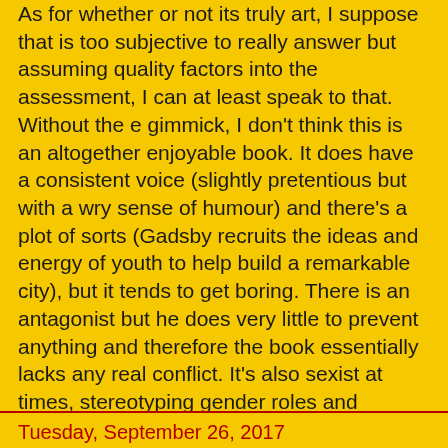As for whether or not its truly art, I suppose that is too subjective to really answer but assuming quality factors into the assessment, I can at least speak to that. Without the e gimmick, I don't think this is an altogether enjoyable book. It does have a consistent voice (slightly pretentious but with a wry sense of humour) and there's a plot of sorts (Gadsby recruits the ideas and energy of youth to help build a remarkable city), but it tends to get boring. There is an antagonist but he does very little to prevent anything and therefore the book essentially lacks any real conflict. It's also sexist at times, stereotyping gender roles and diminishing the contributions of females. I suppose the pro-youth message is at least a little uplifting, especially in light of all of the current anti-millennial sentiment out there-- unless, of course, you're female, then the book would be far less uplifting.
John Mutford at 9/27/2017    No comments:
Share
Tuesday, September 26, 2017